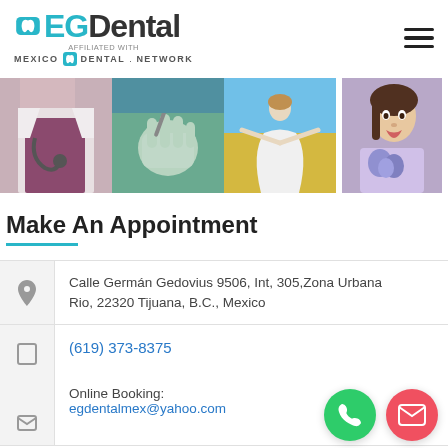[Figure (logo): EGDental logo with tooth icon, affiliated with Mexico Dental Network]
[Figure (photo): Four horizontal photo strip: doctor with stethoscope, dental procedure, woman in field, woman with flowers]
Make An Appointment
Calle Germán Gedovius 9506, Int, 305,Zona Urbana Rio, 22320 Tijuana, B.C., Mexico
(619) 373-8375
Online Booking:
egdentalmex@yahoo.com